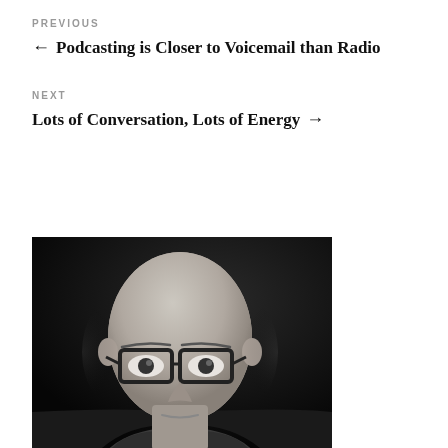PREVIOUS
← Podcasting is Closer to Voicemail than Radio
NEXT
Lots of Conversation, Lots of Energy →
[Figure (photo): Black and white portrait photo of a bald man wearing dark-rimmed glasses, photographed against a dark background, showing his face and upper shoulders.]